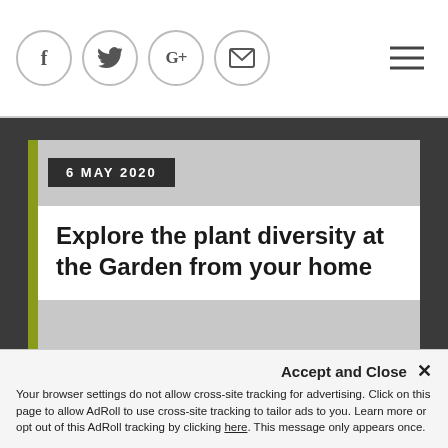Social icons: f, Twitter, G+, email. Hamburger menu.
6 MAY 2020
Explore the plant diversity at the Garden from your home
[Figure (photo): Grey placeholder image area below the article card]
Accept and Close ✕
Your browser settings do not allow cross-site tracking for advertising. Click on this page to allow AdRoll to use cross-site tracking to tailor ads to you. Learn more or opt out of this AdRoll tracking by clicking here. This message only appears once.